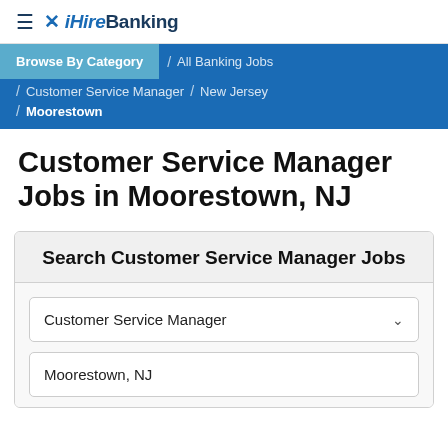≡ iHireBanking
Browse By Category / All Banking Jobs / Customer Service Manager / New Jersey / Moorestown
Customer Service Manager Jobs in Moorestown, NJ
Search Customer Service Manager Jobs
Customer Service Manager
Moorestown, NJ